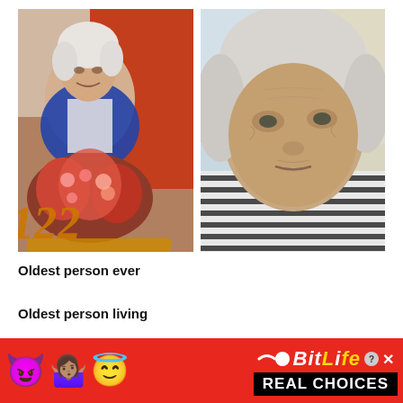[Figure (photo): Two side-by-side photos of Jeanne Calment. Left photo: elderly woman seated with a large floral arrangement with number 122 decoration. Right photo: close-up of elderly woman with white hair wearing a striped shirt.]
Oldest person ever
Oldest person living
[Figure (infographic): Red advertisement banner for BitLife game featuring devil emoji, woman shrugging emoji, angel emoji, sperm icon, BitLife logo in yellow italic text, close/info icons, and black bar with 'REAL CHOICES' text.]